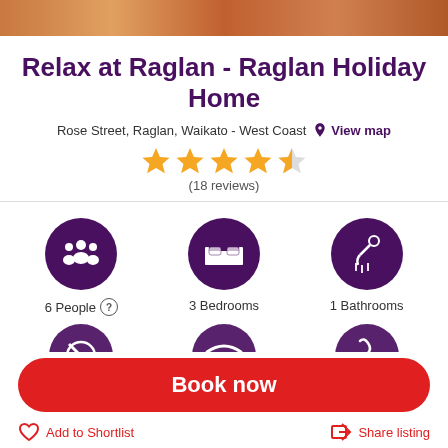[Figure (photo): Top portion of a holiday home photo showing outdoor deck/patio area with colorful chairs and tiles]
Relax at Raglan - Raglan Holiday Home
Rose Street, Raglan, Waikato - West Coast  View map
[Figure (other): 4.5 star rating shown with gold stars]
(18 reviews)
6 People  3 Bedrooms  1 Bathrooms
[Figure (infographic): Purple circular icons: people/guests icon, bed/bedroom icon, shower/bathroom icon, no smoking icon, wifi icon, pool/spa icon]
Book now
Add to Shortlist
Share listing